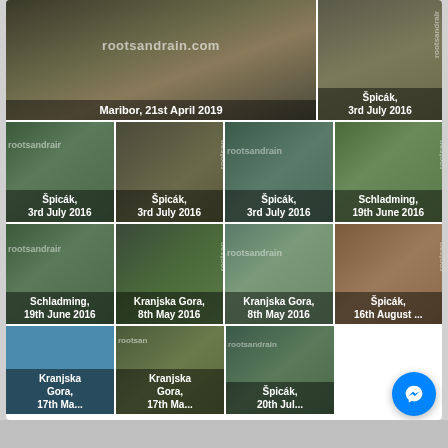[Figure (photo): Mountain bike rider on muddy trail, large photo with rootsandrain.com watermark. Caption: Maribor, 21st April 2019]
[Figure (photo): Mountain bike rider, small top-right photo. Caption: Šicák, 3rd July 2016]
[Figure (photo): Grid photo 1 - Caption: Špicák, 3rd July 2016]
[Figure (photo): Grid photo 2 - Caption: Špicák, 3rd July 2016]
[Figure (photo): Grid photo 3 - Caption: Špicák, 3rd July 2016]
[Figure (photo): Grid photo 4 - Caption: Schladming, 19th June 2016]
[Figure (photo): Grid photo 5 - Caption: Schladming, 19th June 2016]
[Figure (photo): Grid photo 6 - Caption: Kranjska Gora, 8th May 2016]
[Figure (photo): Grid photo 7 - Caption: Kranjska Gora, 8th May 2016]
[Figure (photo): Grid photo 8 - Caption: Špicák, 16th August ...]
[Figure (photo): Small bottom photo 1 - Caption: Kranjska Gora, 17th Ma...]
[Figure (photo): Small bottom photo 2 - Caption: Kranjska Gora, 17th Ma...]
[Figure (photo): Small bottom photo 3 - Caption: Špicák, 20th Jul...]